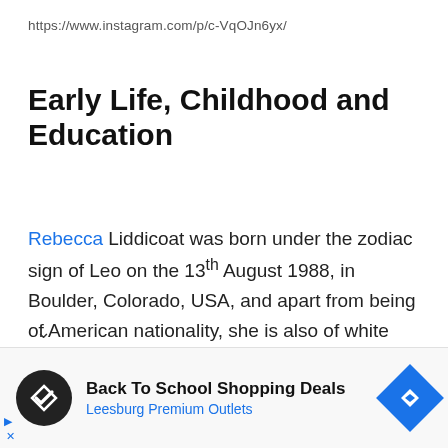https://www.instagram.com/p/c-VqOJn6yx/
Early Life, Childhood and Education
Rebecca Liddicoat was born under the zodiac sign of Leo on the 13th August 1988, in Boulder, Colorado, USA, and apart from being of American nationality, she is also of white ethnicity. Further details regarding her early
Back To School Shopping Deals
Leesburg Premium Outlets